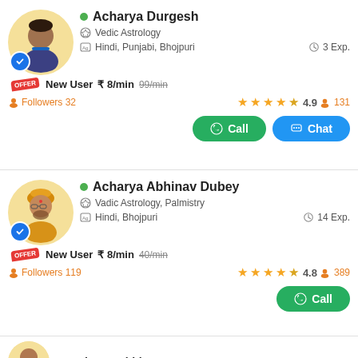[Figure (other): Profile card for Acharya Durgesh: online status (green dot), avatar photo, verified badge, specialty Vedic Astrology, languages Hindi/Punjabi/Bhojpuri, 3 years experience, New User ₹8/min (was 99/min), Followers 32, rating 4.9 stars (131 reviews), Call and Chat buttons]
[Figure (other): Profile card for Acharya Abhinav Dubey: online status (green dot), avatar photo, verified badge, specialty Vadic Astrology/Palmistry, languages Hindi/Bhojpuri, 14 years experience, New User ₹8/min (was 40/min), Followers 119, rating 4.8 stars (389 reviews), Call button]
Acharya Abhi... (partially visible third card)